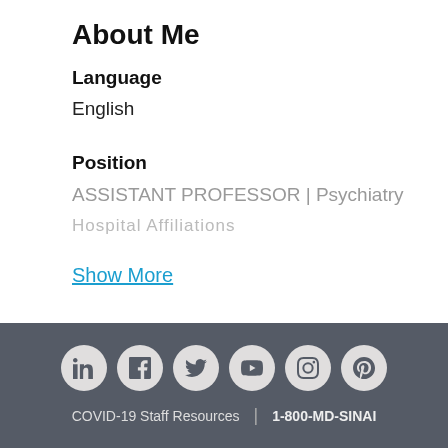About Me
Language
English
Position
ASSISTANT PROFESSOR | Psychiatry
Hospital Affiliations
Show More
[Figure (infographic): Social media icons row: LinkedIn, Facebook, Twitter, YouTube, Instagram, Pinterest — white icons on light gray circles against dark gray background]
COVID-19 Staff Resources | 1-800-MD-SINAI
Patient Information